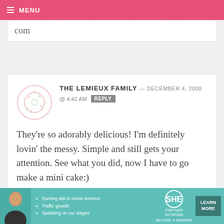MENU
com
THE LEMIEUX FAMILY — DECEMBER 4, 2008 @ 4:42 AM
They're so adorably delicious! I'm definitely lovin' the messy. Simple and still gets your attention. See what you did, now I have to go make a mini cake:)
[Figure (other): SHE Partner Network advertisement banner with person photo, bullet points about Earning site & social revenue, Traffic growth, Speaking on our stages, SHE logo, and LEARN MORE button]